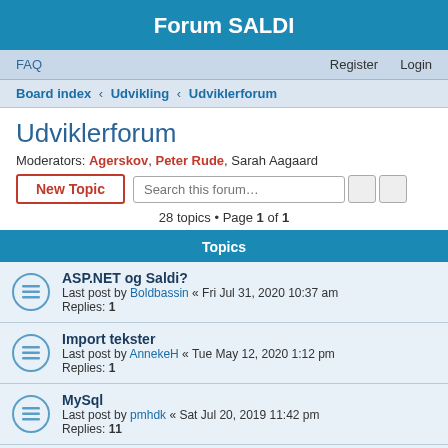Forum SALDI
FAQ   Register   Login
Board index › Udvikling › Udviklerforum
Udviklerforum
Moderators: Agerskov, Peter Rude, Sarah Aagaard
28 topics • Page 1 of 1
Topics
ASP.NET og Saldi?
Last post by Boldbassin « Fri Jul 31, 2020 10:37 am
Replies: 1
Import tekster
Last post by AnnekeH « Tue May 12, 2020 1:12 pm
Replies: 1
MySql
Last post by pmhdk « Sat Jul 20, 2019 11:42 pm
Replies: 11
responsivt layout
Last post by dingaveguide « Sun Oct 07, 2018 8:36 pm
Replies: 8